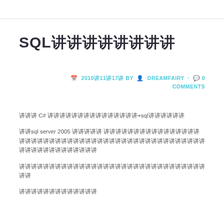SQL讲讲讲讲讲讲讲讲
2010讲11讲17讲 BY DREAMFAIRY · 0 COMMENTS
讲讲讲 C# 讲讲讲讲讲讲讲讲讲讲讲讲讲讲讲+sql讲讲讲讲讲讲
讲讲sql server 2005 讲讲讲讲讲 讲讲讲讲讲讲讲讲讲讲讲讲讲讲讲讲讲讲讲讲讲讲讲讲讲讲讲讲讲讲讲讲讲讲讲讲讲讲讲讲讲讲讲讲讲讲讲讲讲讲讲讲讲讲讲讲讲讲讲讲
讲讲讲讲讲讲讲讲讲讲讲讲讲讲讲讲讲讲讲讲讲讲讲讲讲讲讲讲讲讲讲讲讲
讲讲讲讲讲讲讲讲讲讲讲讲讲